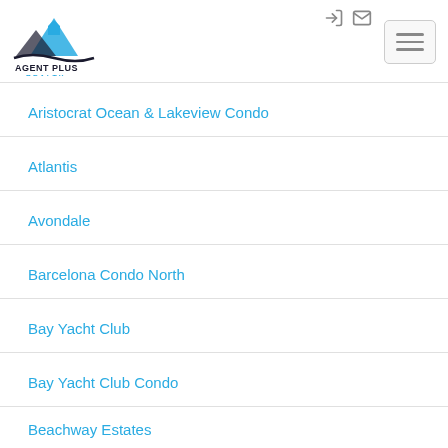[Figure (logo): Agent Plus Realty logo with mountain/house icon and text]
Aristocrat Ocean & Lakeview Condo
Atlantis
Avondale
Barcelona Condo North
Bay Yacht Club
Bay Yacht Club Condo
Beachway Estates